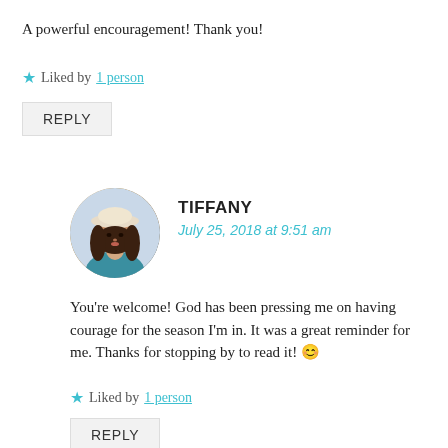A powerful encouragement! Thank you!
★ Liked by 1 person
REPLY
[Figure (photo): Circular avatar photo of Tiffany, a woman wearing a hat outdoors]
TIFFANY
July 25, 2018 at 9:51 am
You're welcome! God has been pressing me on having courage for the season I'm in. It was a great reminder for me. Thanks for stopping by to read it! 😊
★ Liked by 1 person
REPLY